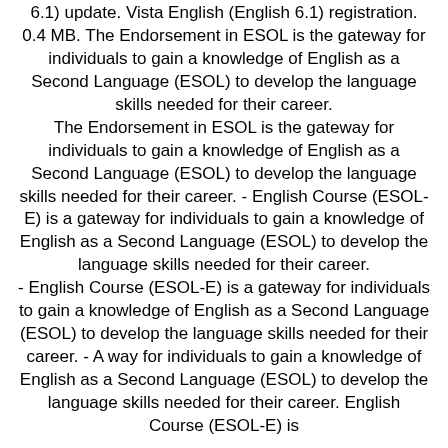6.1) update. Vista English (English 6.1) registration. 0.4 MB. The Endorsement in ESOL is the gateway for individuals to gain a knowledge of English as a Second Language (ESOL) to develop the language skills needed for their career. The Endorsement in ESOL is the gateway for individuals to gain a knowledge of English as a Second Language (ESOL) to develop the language skills needed for their career. - English Course (ESOL-E) is a gateway for individuals to gain a knowledge of English as a Second Language (ESOL) to develop the language skills needed for their career. - English Course (ESOL-E) is a gateway for individuals to gain a knowledge of English as a Second Language (ESOL) to develop the language skills needed for their career. - A way for individuals to gain a knowledge of English as a Second Language (ESOL) to develop the language skills needed for their career. English Course (ESOL-E) is